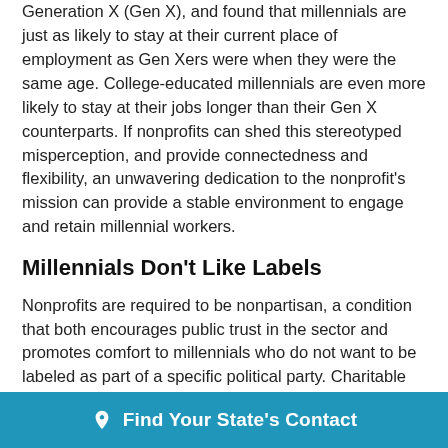Generation X (Gen X), and found that millennials are just as likely to stay at their current place of employment as Gen Xers were when they were the same age. College-educated millennials are even more likely to stay at their jobs longer than their Gen X counterparts. If nonprofits can shed this stereotyped misperception, and provide connectedness and flexibility, an unwavering dedication to the nonprofit's mission can provide a stable environment to engage and retain millennial workers.
Millennials Don't Like Labels
Nonprofits are required to be nonpartisan, a condition that both encourages public trust in the sector and promotes comfort to millennials who do not want to be labeled as part of a specific political party. Charitable nonprofits are prohibited from electioneering and partisan political activities under the tax code, which
Find Your State's Contact